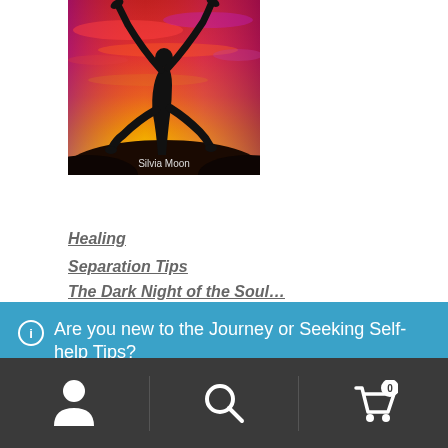[Figure (illustration): Book cover image showing silhouette of a yoga/handstand pose against a vibrant sunset sky in red, orange, yellow hues. Text at bottom reads 'Silvia Moon'.]
Healing
Separation Tips
The Dark Night of the Soul (partially visible, cut off)
ⓘ Are you new to the Journey or Seeking Self-help Tips? Every Twin Flame is Welcome!
Dismiss